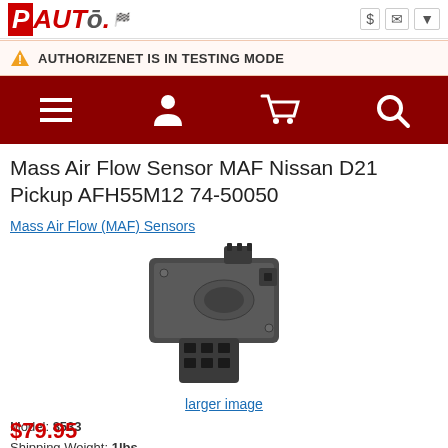PAUTO
AUTHORIZENET IS IN TESTING MODE
Mass Air Flow Sensor MAF Nissan D21 Pickup AFH55M12 74-50050
Mass Air Flow (MAF) Sensors
[Figure (photo): Mass Air Flow Sensor - dark gray/black automotive sensor unit with connector plug, viewed at an angle]
larger image
Model: 8533
Shipping Weight: 1lbs
Manufactured by: Aftermarket
$79.95